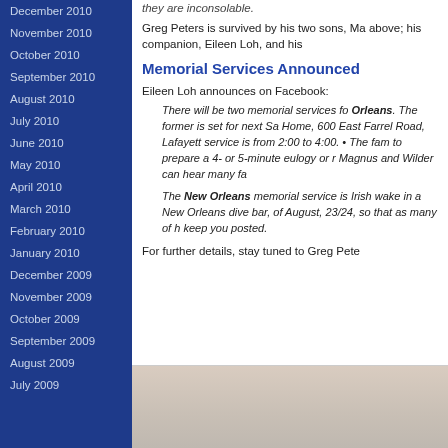December 2010
November 2010
October 2010
September 2010
August 2010
July 2010
June 2010
May 2010
April 2010
March 2010
February 2010
January 2010
December 2009
November 2009
October 2009
September 2009
August 2009
July 2009
they are inconsolable.
Greg Peters is survived by his two sons, Ma above; his companion, Eileen Loh, and his
Memorial Services Announced
Eileen Loh announces on Facebook:
There will be two memorial services for... Orleans. The former is set for next Sa Home, 600 East Farrel Road, Lafayett service is from 2:00 to 4:00. • The fam to prepare a 4- or 5-minute eulogy or r Magnus and Wilder can hear many fa
The New Orleans memorial service is Irish wake in a New Orleans dive bar, of August, 23/24, so that as many of h keep you posted.
For further details, stay tuned to Greg Pete
[Figure (photo): Partial photo visible at bottom of page, appears to be a person or indoor scene with warm/neutral tones]